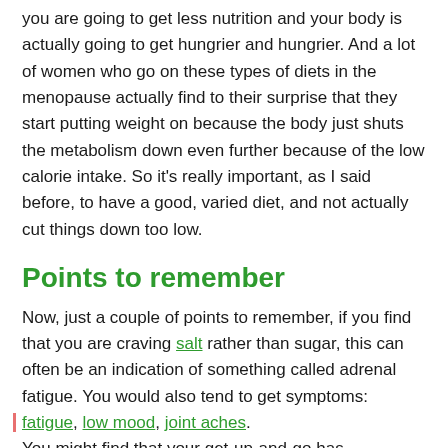you are going to get less nutrition and your body is actually going to get hungrier and hungrier. And a lot of women who go on these types of diets in the menopause actually find to their surprise that they start putting weight on because the body just shuts the metabolism down even further because of the low calorie intake. So it's really important, as I said before, to have a good, varied diet, and not actually cut things down too low.
Points to remember
Now, just a couple of points to remember, if you find that you are craving salt rather than sugar, this can often be an indication of something called adrenal fatigue. You would also tend to get symptoms: fatigue, low mood, joint aches. You might find that your get-up-and-go has completely gone. So if you think this might be you with the adrenal fatigue,